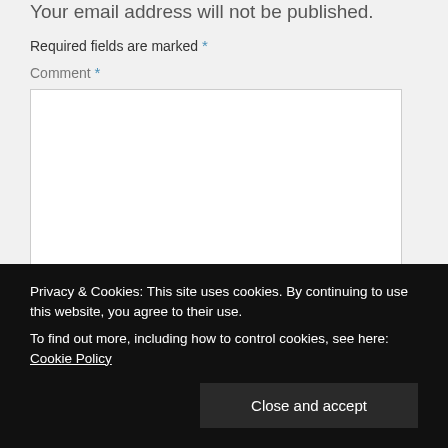Your email address will not be published.
Required fields are marked *
Comment *
[Figure (other): Comment textarea input box, white background with light border]
Privacy & Cookies: This site uses cookies. By continuing to use this website, you agree to their use.
To find out more, including how to control cookies, see here: Cookie Policy
Close and accept